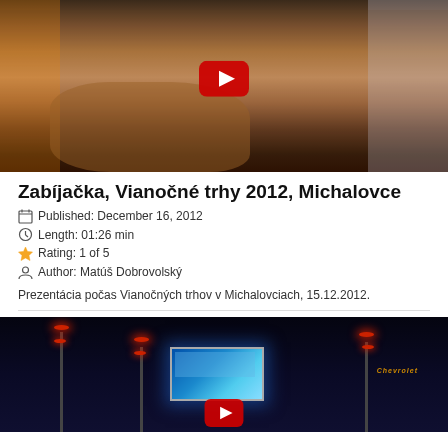[Figure (screenshot): Video thumbnail showing people at an outdoor event with a pig being butchered, with a YouTube play button overlay]
Zabíjačka, Vianočné trhy 2012, Michalovce
Published: December 16, 2012
Length: 01:26 min
Rating: 1 of 5
Author: Matúš Dobrovolský
Prezentácia počas Vianočných trhov v Michalovciach, 15.12.2012.
[Figure (screenshot): Video thumbnail showing a nighttime outdoor scene with illuminated street lights and a billboard, with a YouTube play button overlay]